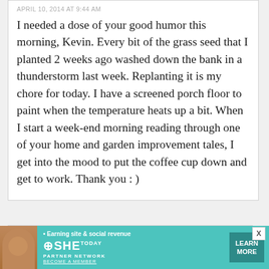APRIL 10, 2014 AT 9:44 AM
I needed a dose of your good humor this morning, Kevin. Every bit of the grass seed that I planted 2 weeks ago washed down the bank in a thunderstorm last week. Replanting it is my chore for today. I have a screened porch floor to paint when the temperature heats up a bit. When I start a week-end morning reading through one of your home and garden improvement tales, I get into the mood to put the coffee cup down and get to work. Thank you : )
Lynn Eisonhoil
25
[Figure (infographic): Advertisement banner for SHE Media Partner Network with teal background, woman photo, tagline 'Earning site & social revenue', SHE logo, LEARN MORE button, and X close button]